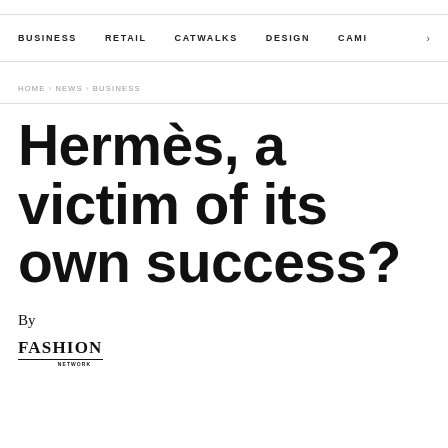BUSINESS   RETAIL   CATWALKS   DESIGN   CAMI >
HOME › NEWS › BUSINESS
Hermès, a victim of its own success?
By
[Figure (logo): Fashion Network logo with text FASHION NETWORK underlined]